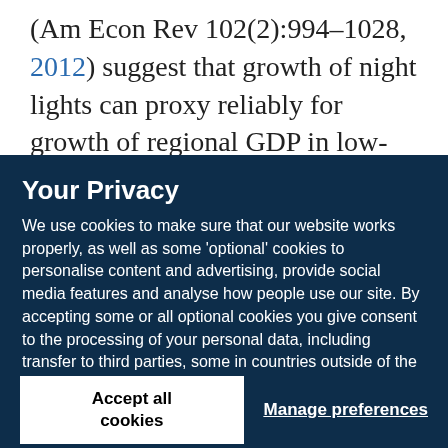(Am Econ Rev 102(2):994–1028, 2012) suggest that growth of night lights can proxy reliably for growth of regional GDP in low-income countries where GDP data
Your Privacy
We use cookies to make sure that our website works properly, as well as some 'optional' cookies to personalise content and advertising, provide social media features and analyse how people use our site. By accepting some or all optional cookies you give consent to the processing of your personal data, including transfer to third parties, some in countries outside of the European Economic Area that do not offer the same data protection standards as the country where you live. You can decide which optional cookies to accept by clicking on 'Manage Settings', where you can also find more information about how your personal data is processed. Further information can be found in our privacy policy.
Accept all cookies
Manage preferences